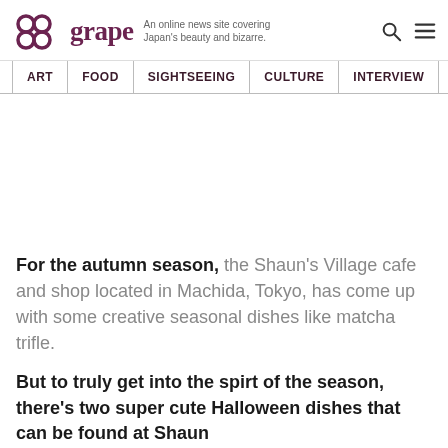grape — An online news site covering Japan's beauty and bizarre.
ART | FOOD | SIGHTSEEING | CULTURE | INTERVIEW
[Figure (other): Advertisement / blank space area]
For the autumn season, the Shaun's Village cafe and shop located in Machida, Tokyo, has come up with some creative seasonal dishes like matcha trifle.
But to truly get into the spirt of the season, there's two super cute Halloween dishes that can be found at Shaun the Sheep Farm Cafe. While most of them are found...